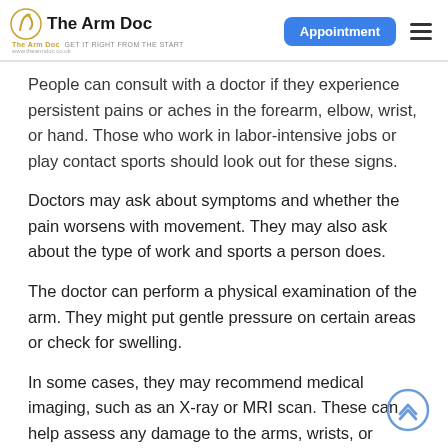The Arm Doc — GET IT RIGHT FROM THE START | Appointment | Menu
People can consult with a doctor if they experience persistent pains or aches in the forearm, elbow, wrist, or hand. Those who work in labor-intensive jobs or play contact sports should look out for these signs.
Doctors may ask about symptoms and whether the pain worsens with movement. They may also ask about the type of work and sports a person does.
The doctor can perform a physical examination of the arm. They might put gentle pressure on certain areas or check for swelling.
In some cases, they may recommend medical imaging, such as an X-ray or MRI scan. These can help assess any damage to the arms, wrists, or hands.